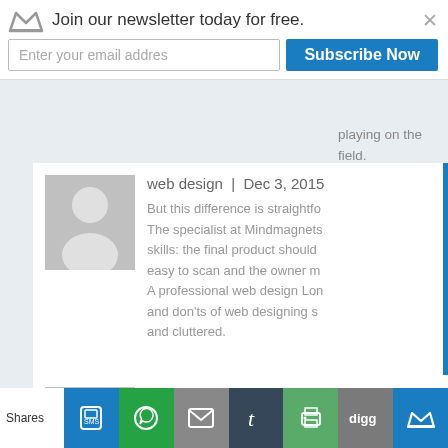Join our newsletter today for free.
playing on the field.
web design | Dec 3, 2015
But this difference is straightfo... The specialist at Mindmagnets skills: the final product should easy to scan and the owner m... A professional web design Lon... and don'ts of web designing s... and cluttered.
wood stairs | Apr 21, 201...
Shares